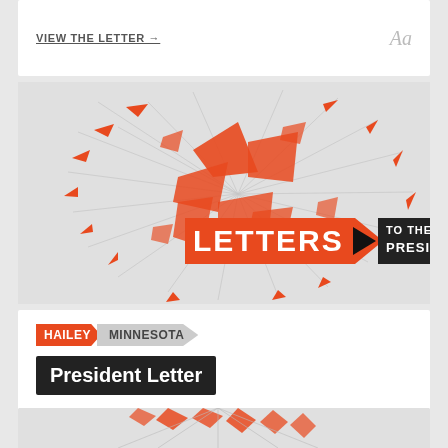VIEW THE LETTER →
[Figure (illustration): Letters to the Next President 2.0 banner with orange exploding arrow graphic design, featuring the text LETTERS TO THE NEXT PRESIDENT 2.0]
HAILEY   MINNESOTA
President Letter
What I believe about the next president.
VIEW THE LETTER →
[Figure (illustration): Partial view of Letters to the Next President 2.0 banner with orange exploding arrow graphic design at bottom of page]